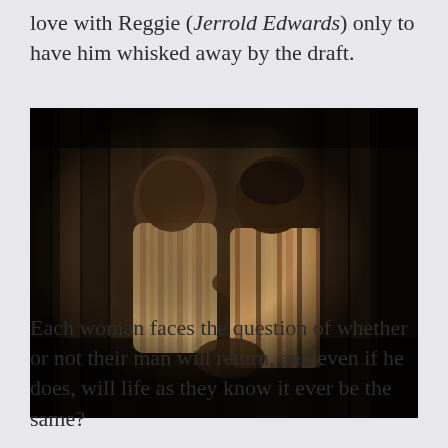love with Reggie (Jerrold Edwards) only to have him whisked away by the draft.
[Figure (photo): Two people sitting close together, a man and a woman in striped clothing, leaning against each other in front of wooden slats/stairs in a dimly lit scene.]
Each woman faces the question of whether or not their man will return, and even if he does, will life as they know it ever be the same?